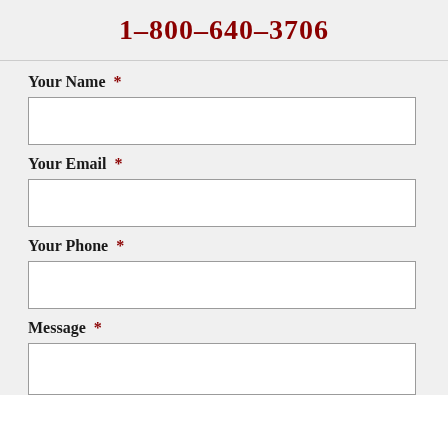1-800-640-3706
Your Name *
Your Email *
Your Phone *
Message *